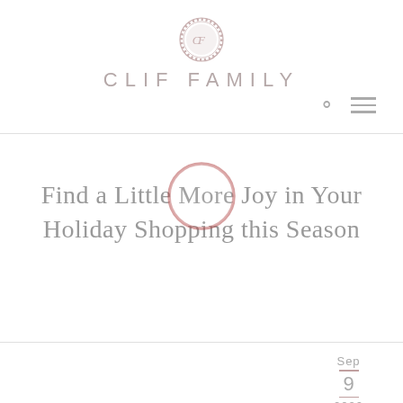CLIF FAMILY
Find a Little More Joy in Your Holiday Shopping this Season
Sep 9 2020